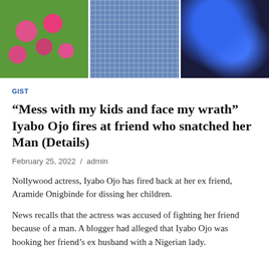[Figure (photo): Three photos in a horizontal row: left shows a person in colorful floral/patterned outfit in green and pink, center shows a man in a blue checkered shirt, right shows blue glittery decorative items on dark background.]
GIST
“Mess with my kids and face my wrath” Iyabo Ojo fires at friend who snatched her Man (Details)
February 25, 2022  /  admin
Nollywood actress, Iyabo Ojo has fired back at her ex friend, Aramide Onigbinde for dissing her children.
News recalls that the actress was accused of fighting her friend because of a man. A blogger had alleged that Iyabo Ojo was hooking her friend’s ex husband with a Nigerian lady.